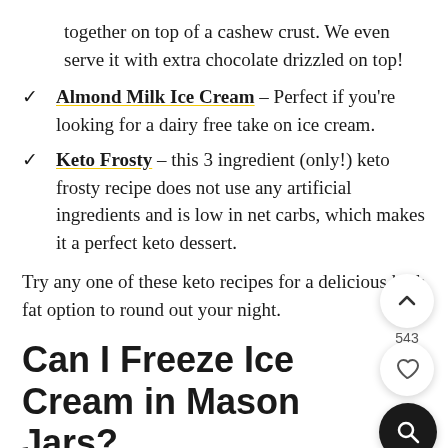together on top of a cashew crust. We even serve it with extra chocolate drizzled on top!
Almond Milk Ice Cream – Perfect if you're looking for a dairy free take on ice cream.
Keto Frosty – this 3 ingredient (only!) keto frosty recipe does not use any artificial ingredients and is low in net carbs, which makes it a perfect keto dessert.
Try any one of these keto recipes for a delicious high fat option to round out your night.
Can I Freeze Ice Cream in Mason Jars?
Yes! This keto ice cream recipe can be frozen in mason jars without any issues. Whenever freezing